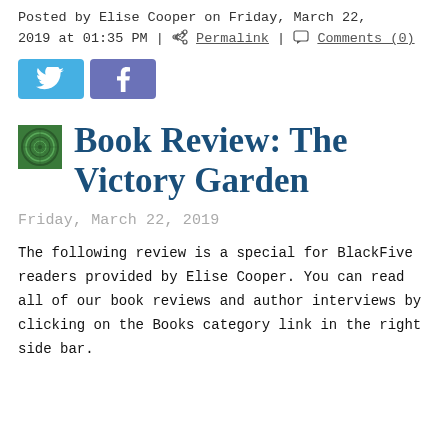Posted by Elise Cooper on Friday, March 22, 2019 at 01:35 PM | Permalink | Comments (0)
[Figure (other): Twitter and Facebook social sharing buttons]
Book Review: The Victory Garden
Friday, March 22, 2019
The following review is a special for BlackFive readers provided by Elise Cooper. You can read all of our book reviews and author interviews by clicking on the Books category link in the right side bar.